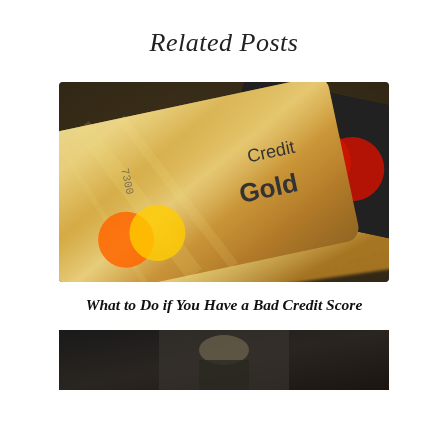Related Posts
[Figure (photo): Close-up photo of multiple credit cards stacked together — a gold Credit Gold Mastercard in front, a black and red Mastercard in the middle, and a VISA card at the bottom on a dark background.]
What to Do if You Have a Bad Credit Score
[Figure (photo): Partial view of a second related post image, partially cut off at the bottom of the page.]